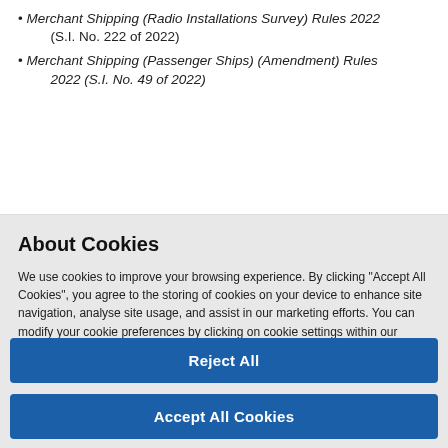Merchant Shipping (Radio Installations Survey) Rules 2022 (S.I. No. 222 of 2022)
Merchant Shipping (Passenger Ships) (Amendment) Rules 2022 (S.I. No. 49 of 2022)
About Cookies
We use cookies to improve your browsing experience. By clicking “Accept All Cookies”, you agree to the storing of cookies on your device to enhance site navigation, analyse site usage, and assist in our marketing efforts. You can modify your cookie preferences by clicking on cookie settings within our  Cookie Policy
Cookies Settings
Reject All
Accept All Cookies